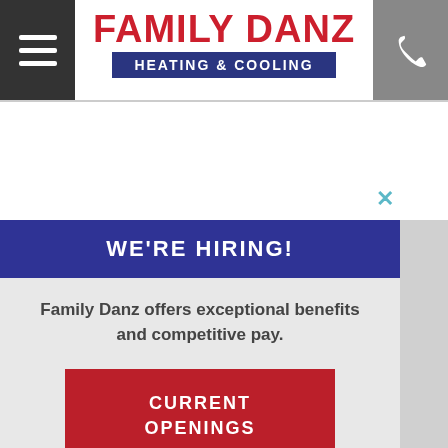[Figure (logo): Family Danz Heating & Cooling logo with hamburger menu button on left and phone icon button on right]
WE'RE HIRING!
Family Danz offers exceptional benefits and competitive pay.
CURRENT OPENINGS